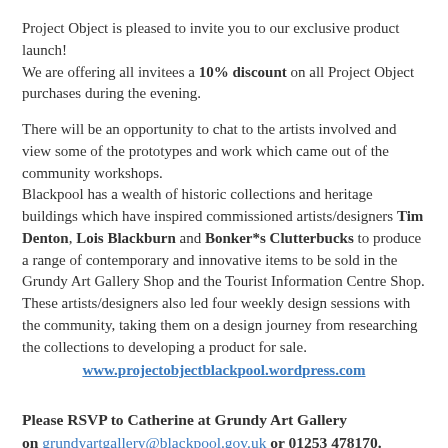Project Object is pleased to invite you to our exclusive product launch!
We are offering all invitees a 10% discount on all Project Object purchases during the evening.
There will be an opportunity to chat to the artists involved and view some of the prototypes and work which came out of the community workshops.
Blackpool has a wealth of historic collections and heritage buildings which have inspired commissioned artists/designers Tim Denton, Lois Blackburn and Bonker*s Clutterbucks to produce a range of contemporary and innovative items to be sold in the Grundy Art Gallery Shop and the Tourist Information Centre Shop. These artists/designers also led four weekly design sessions with the community, taking them on a design journey from researching the collections to developing a product for sale.
www.projectobjectblackpool.wordpress.com
Please RSVP to Catherine at Grundy Art Gallery on grundyartgallery@blackpool.gov.uk or 01253 478170.
Project Object is managed by Blackpool Arts Service and